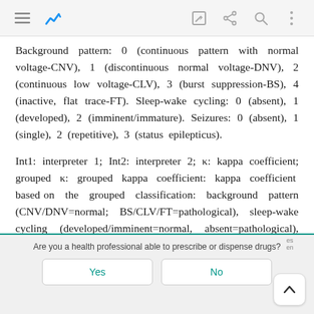[App navigation bar with menu, chart, edit, share, search, and more icons]
Background pattern: 0 (continuous pattern with normal voltage-CNV), 1 (discontinuous normal voltage-DNV), 2 (continuous low voltage-CLV), 3 (burst suppression-BS), 4 (inactive, flat trace-FT). Sleep-wake cycling: 0 (absent), 1 (developed), 2 (imminent/immature). Seizures: 0 (absent), 1 (single), 2 (repetitive), 3 (status epilepticus).
Int1: interpreter 1; Int2: interpreter 2; κ: kappa coefficient; grouped κ: grouped kappa coefficient: kappa coefficient based on the grouped classification: background pattern (CNV/DNV=normal; BS/CLV/FT=pathological), sleep-wake cycling (developed/imminent=normal, absent=pathological), and seizures (absent=normal, single/repetitive/status epilepticus=pathological); Neo: on-call neonatologist.
(0.35MB).
Are you a health professional able to prescribe or dispense drugs?